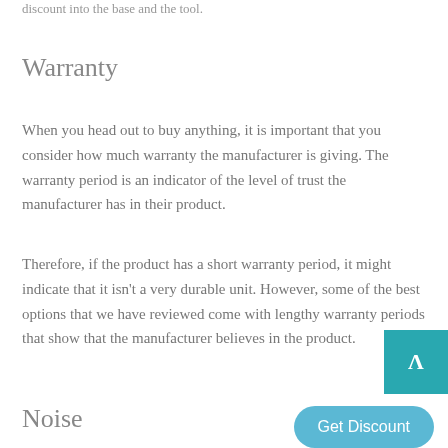…discount into the base and the tool.
Warranty
When you head out to buy anything, it is important that you consider how much warranty the manufacturer is giving. The warranty period is an indicator of the level of trust the manufacturer has in their product.
Therefore, if the product has a short warranty period, it might indicate that it isn't a very durable unit. However, some of the best options that we have reviewed come with lengthy warranty periods that show that the manufacturer believes in the product.
Noise